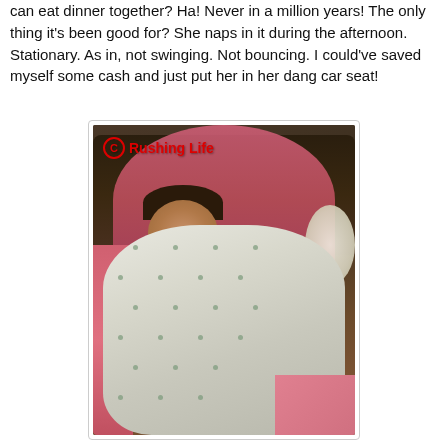can eat dinner together? Ha! Never in a million years! The only thing it's been good for? She naps in it during the afternoon. Stationary. As in, not swinging. Not bouncing. I could've saved myself some cash and just put her in her dang car seat!
[Figure (photo): A newborn baby sleeping, swaddled in a white blanket with small green dots, nestled in a pink bouncy seat or swing. The baby has dark hair. A white fluffy toy is visible to the right. Watermark reads '© Rushing Life' in red.]